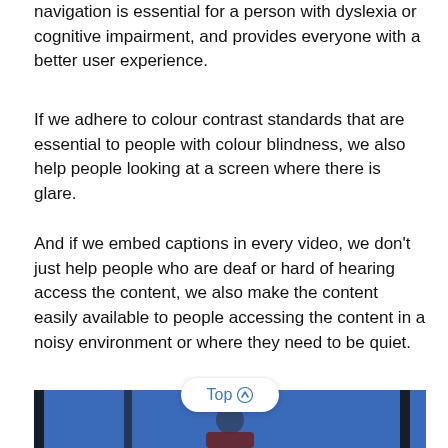navigation is essential for a person with dyslexia or cognitive impairment, and provides everyone with a better user experience.
If we adhere to colour contrast standards that are essential to people with colour blindness, we also help people looking at a screen where there is glare.
And if we embed captions in every video, we don't just help people who are deaf or hard of hearing access the content, we also make the content easily available to people accessing the content in a noisy environment or where they need to be quiet.
[Figure (photo): A person in front of a blue background, partially visible. A 'Top ↑' navigation button overlaid on the image.]